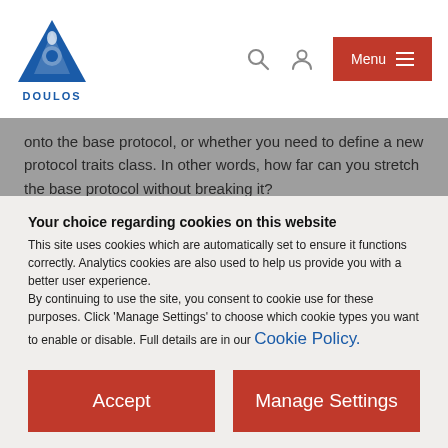DOULOS (logo and navigation bar with search, user, and Menu buttons)
onto the base protocol, or whether you need to define a new protocol traits class. In other words, how far can you stretch the base protocol without breaking it?
Back to the top
Ignorable Extensions
Your choice regarding cookies on this website
This site uses cookies which are automatically set to ensure it functions correctly. Analytics cookies are also used to help us provide you with a better user experience.
By continuing to use the site, you consent to cookie use for these purposes. Click 'Manage Settings' to choose which cookie types you want to enable or disable. Full details are in our Cookie Policy.
Accept
Manage Settings